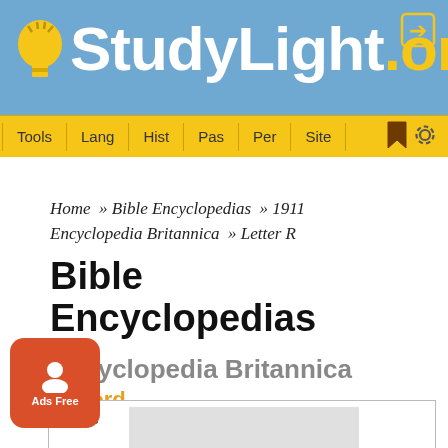[Figure (logo): StudyLight.org website header with blue background, yellow lightbulb icon, white 'StudyLight' text and yellow '.org' text]
Tools | Lang | Hist | Pas | Per | Site
Home » Bible Encyclopedias » 1911 Encyclopedia Britannica » Letter R
Bible Encyclopedias
Encyclopedia Britannica
Record
[Figure (screenshot): Ads Free badge - orange rounded square with person icon and 'Ads Free' text]
[Figure (screenshot): Ad content box partially visible at bottom of page]